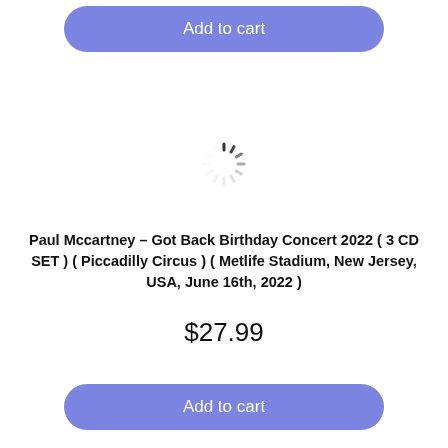Add to cart
[Figure (other): Loading spinner animation — circular dashed spinner graphic centered on the page]
Paul Mccartney – Got Back Birthday Concert 2022 ( 3 CD SET ) ( Piccadilly Circus ) ( Metlife Stadium, New Jersey, USA, June 16th, 2022 )
$27.99
Add to cart